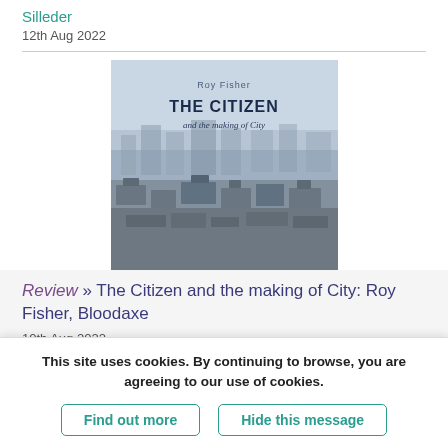Silleder
12th Aug 2022
[Figure (illustration): Book cover of 'The Citizen and the making of City' by Roy Fisher, showing a misty industrial cityscape from above, published by Bloodaxe]
Review » The Citizen and the making of City: Roy Fisher, Bloodaxe
10th Aug 2022
Comments
<Deleted User> (13762)
This site uses cookies. By continuing to browse, you are agreeing to our use of cookies.